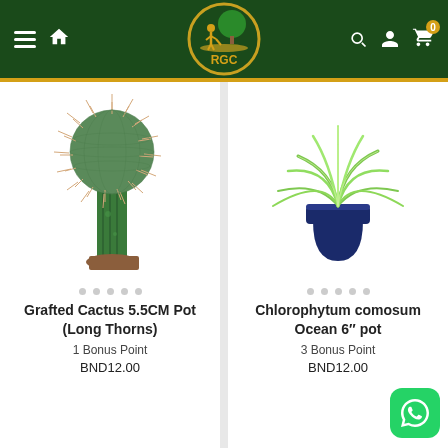[Figure (screenshot): RGC plant shop mobile app header with dark green background, hamburger menu, home icon, RGC logo in center, search, user, and cart icons on right]
[Figure (photo): Grafted cactus with long thorns - tall green column cactus with spherical thorny top, in a brown pot]
[Figure (photo): Chlorophytum comosum (spider plant) in a dark blue 6-inch pot with long green and white-striped leaves spreading outward]
Grafted Cactus 5.5CM Pot (Long Thorns)
1 Bonus Point
BND12.00
Chlorophytum comosum Ocean 6″ pot
3 Bonus Point
BND12.00